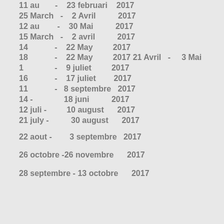11 au  -  23 februari  2017
25 March  -  2 Avril   2017
12 au  -  30 Mai   2017
15 March  -  2 avril   2017
14  -  22 May   2017
18  -  22 May   2017 21 Avril  -  3 Mai   2017
1  -  9 juliet   2017
16  -  17 juliet   2017
11  -  8 septembre  2017
14 -   18 juni   2017
12 juli -   10 august   2017
21 july -   30 august   2017
22 aout -   3 septembre  2017
26 octobre -26 novembre   2017
28 septembre - 13 octobre   2017